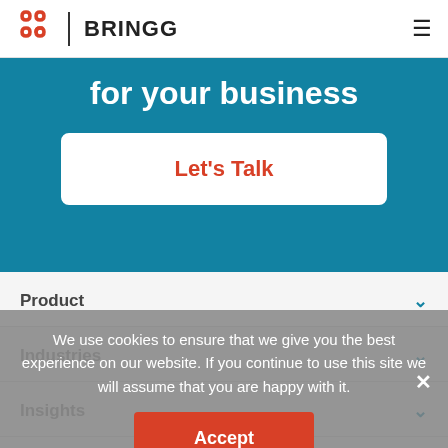BRINGG
for your business
Let's Talk
Product
Industries
Insights
Guides
We use cookies to ensure that we give you the best experience on our website. If you continue to use this site we will assume that you are happy with it.
Accept